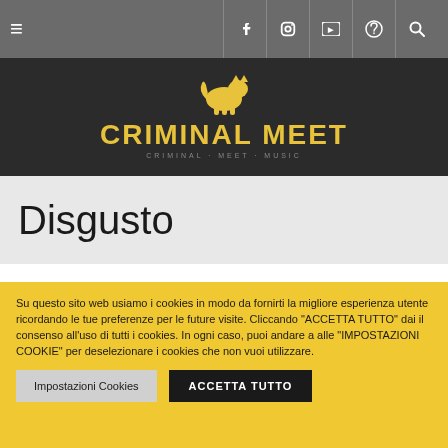[Figure (screenshot): Website navigation bar with hamburger menu on the left and social media icons (Facebook, Instagram, YouTube, Spotify, Search) on the right, on a gray background]
[Figure (logo): Criminal Meet logo: yellow cat silhouette above bold yellow text 'CRIMINAL MEET' on dark background, with small gray subtitle text below]
Disgusto
Su questo sito web usiamo i cookies in modo da fornirti la migliore esperienza utente ricordando le tue preferenze per le future visite. Cliccando "ACCETTA TUTTO" dai il consenso all'uso di tutti i cookies. In ogni caso, puoi andare a alle "IMPOSTAZIONI COOKIE" per deselezionare i cookies che non vuoi utilizzare.
Impostazioni Cookies
ACCETTA TUTTO